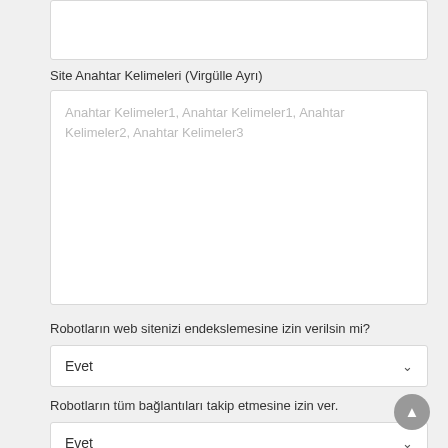Site Anahtar Kelimeleri (Virgülle Ayrı)
[Figure (screenshot): Textarea input field with placeholder text: Anahtar Kelimeler1, Anahtar Kelimeler1, Anahtar Kelimeler2, Anahtar Kelimeler3]
Robotların web sitenizi endekslemesine izin verilsin mi?
[Figure (screenshot): Dropdown select box showing 'Evet' with chevron]
Robotların tüm bağlantıları takip etmesine izin ver.
[Figure (screenshot): Dropdown select box showing 'Evet' with chevron]